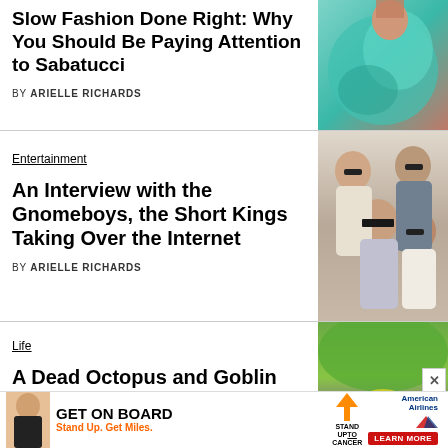Slow Fashion Done Right: Why You Should Be Paying Attention to Sabatucci
BY ARIELLE RICHARDS
[Figure (photo): Person in teal satin fabric, fashion photo]
Entertainment
An Interview with the Gnomeboys, the Short Kings Taking Over the Internet
BY ARIELLE RICHARDS
[Figure (photo): Group photo of four young people wearing sunglasses]
Life
A Dead Octopus and Goblin Prosthetics: Everything is Fashion to Rose Pure
BY ARIELLE RICHARDS
[Figure (photo): Person posing in purple tights and yellow outfit on grass]
[Figure (infographic): Advertisement: GET ON BOARD Stand Up. Get Miles. Stand Up To Cancer / American Airlines LEARN MORE]